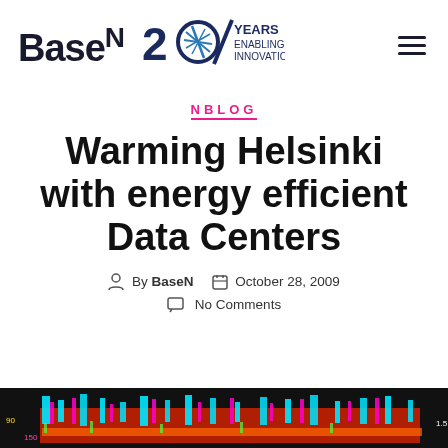[Figure (logo): BaseN logo with '20 Years Enabling Innovation' badge and hamburger menu icon]
NBLOG
Warming Helsinki with energy efficient Data Centers
By BaseN  October 28, 2009
No Comments
[Figure (continuous-plot): Colorful data chart strip at the bottom of the page showing multicolored time-series bars in red, cyan, magenta, and other colors on a black background with axis labels 90, 150 on left and 1.5 on right]